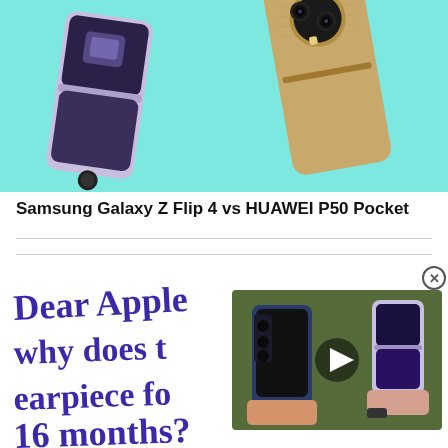[Figure (photo): Two foldable smartphones on a teal/cyan background — Samsung Galaxy Z Flip 4 (purple, open) and HUAWEI P50 Pocket (gold, closed), viewed from the back/top.]
Samsung Galaxy Z Flip 4 vs HUAWEI P50 Pocket
[Figure (photo): Advertisement image showing hand-written blue text on white background reading 'Dear Apple, why does t... earpiece fo... 16 months?' with a video thumbnail overlay showing two hands holding foldable phones (Samsung Galaxy Z Fold and Z Flip) with a play button.]